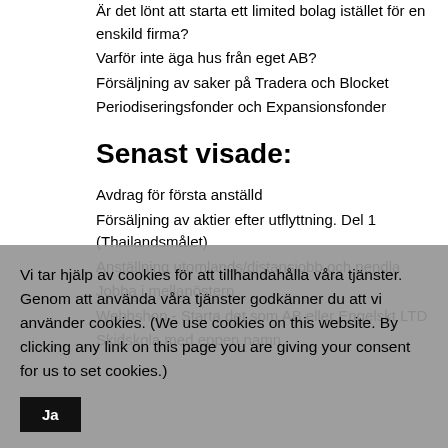Är det lönt att starta ett limited bolag istället för en enskild firma?
Varför inte äga hus från eget AB?
Försäljning av saker på Tradera och Blocket
Periodiseringsfonder och Expansionsfonder
Senast visade:
Avdrag för första anställd
Försäljning av aktier efter utflyttning. Del 1 (Thailandsmålet)
Anställning utomlands/distansjobb och pendla
Jobba i mellanöstern
Webbshop - Starta det som AB eller Engelskt LTD
Skidskola med eppen namn
Vi tar hjälp av cookies för att tillhandahålla våra tjänster. Genom att använda våra tjänster godkänner du att vi använder cookies. (We use cookies on this website. By clicking any link on this page you are giving your consent for us to set cookies.)
Ja